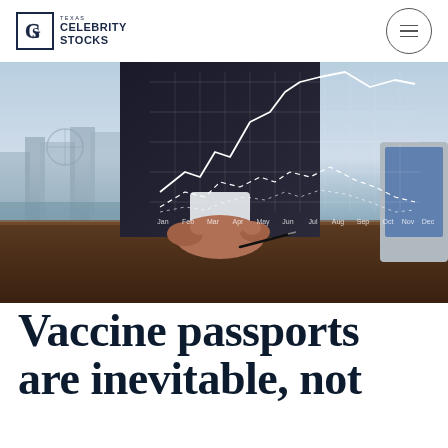Celebrity Stocks
[Figure (photo): A person in a dark suit resting their hand on a desk with a stylized financial stock chart overlay showing monthly data labels (Jan through Dec) and multiple line series against a city skyline background]
Vaccine passports are inevitable, not